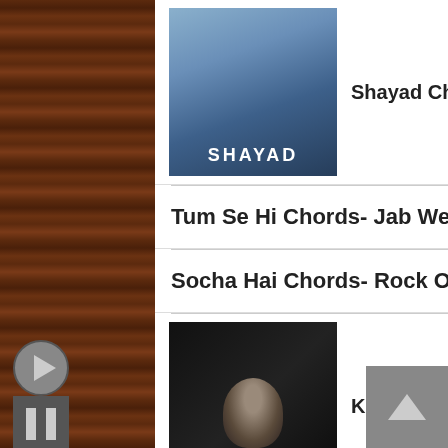[Figure (screenshot): Thumbnail image for Shayad song with two people and text SHAYAD]
Shayad Chords - Arijit Singh | Love Aaj Kal
Tum Se Hi Chords- Jab We Met
Socha Hai Chords- Rock On
[Figure (screenshot): Thumbnail image for Kuch Bhi Ho Jaye song with B Praak]
Kuch Bhi Ho Jaye Chords- B Praak
Hosanna Chords- Ek Deewana Tha
[Figure (screenshot): Thumbnail image for Ours by Taylor Swift with VEVO watermark]
Ours Chords- Taylor Swift